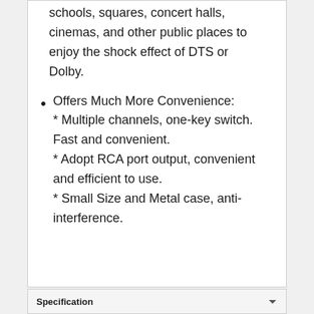schools, squares, concert halls, cinemas, and other public places to enjoy the shock effect of DTS or Dolby.
Offers Much More Convenience:
* Multiple channels, one-key switch. Fast and convenient.
* Adopt RCA port output, convenient and efficient to use.
* Small Size and Metal case, anti-interference.
Specification